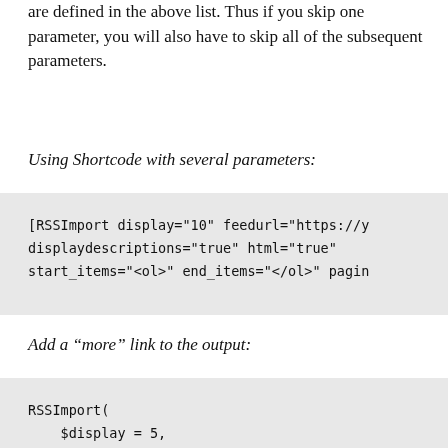are defined in the above list. Thus if you skip one parameter, you will also have to skip all of the subsequent parameters.
Using Shortcode with several parameters:
[RSSImport display="10" feedurl="https://y displaydescriptions="true" html="true" start_items="<ol>" end_items="</ol>" pagin
Add a “more” link to the output:
RSSImport(
    $display = 5,
    $feedurl = 'https://bueltge.de/feed/',
    $before_desc = '',
    $displaydescriptions = true